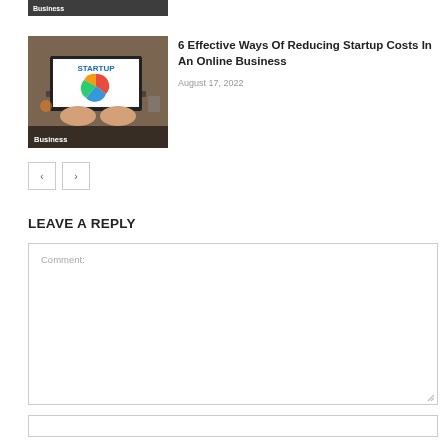[Figure (photo): Partial image of a Business article thumbnail at top of page — cropped strip showing 'Business' label]
[Figure (photo): Thumbnail image of a laptop showing a startup pie chart and person typing, with 'Business' overlay label]
6 Effective Ways Of Reducing Startup Costs In An Online Business
August 17, 2022
< >
LEAVE A REPLY
Comment: